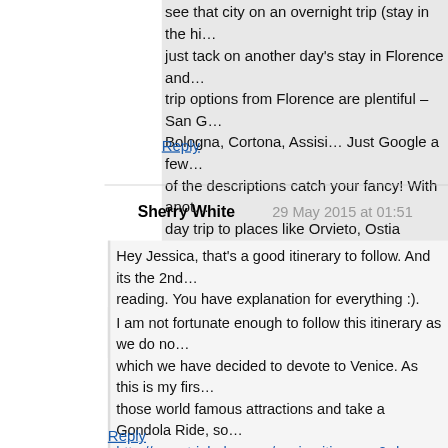see that city on an overnight trip (stay in the hi... just tack on another day's stay in Florence and... trip options from Florence are plentiful – San G... Bologna, Cortona, Assisi… Just Google a few ... of the descriptions catch your fancy! With anot... day trip to places like Orvieto, Ostia Antica, or ... Have a great trip!
Reply
Sherry White   29 May 2015 at 01:51
Hey Jessica, that's a good itinerary to follow. And its the 2nd... reading. You have explanation for everything :). But I agree w... perfection can be the same as someone else's.
I am not fortunate enough to follow this itinerary as we do no... which we have decided to devote to Venice. As this is my firs... those world famous attractions and take a Gondola Ride, so... http://www.triphobo.com/venice-itinerary-2-days, which leave... tour of Venice. I am not sure I will be able to experience Veni... your advice on the nighttime stroll. Hope to have a good time...
Reply